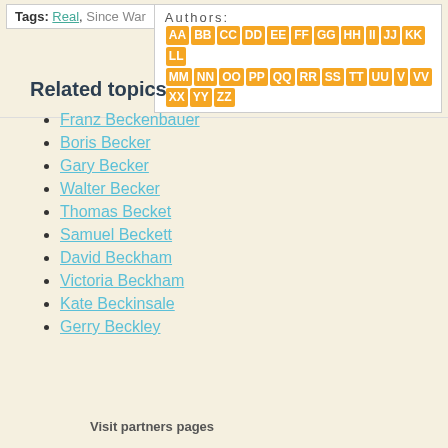Tags: Real, Since War
Authors: AA BB CC DD EE FF GG HH II JJ KK LL MM NN OO PP QQ RR SS TT UU V VV XX YY ZZ
Related topics
Franz Beckenbauer
Boris Becker
Gary Becker
Walter Becker
Thomas Becket
Samuel Beckett
David Beckham
Victoria Beckham
Kate Beckinsale
Gerry Beckley
Visit partners pages